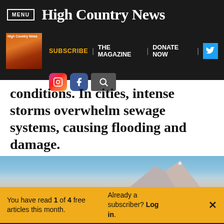MENU | High Country News
[Figure (screenshot): Secondary navigation bar with High Country News magazine thumbnail, SUBSCRIBE, THE MAGAZINE, DONATE NOW links, Twitter button, Instagram, Facebook, and search icons]
conditions. In cities, intense storms overwhelm sewage systems, causing flooding and damage.
[Figure (photo): Mountain peak against blue sky image strip]
You have read 1 of 4 free articles this month. Already a subscriber? Log in. ×
Support independent journalism. Subscribe